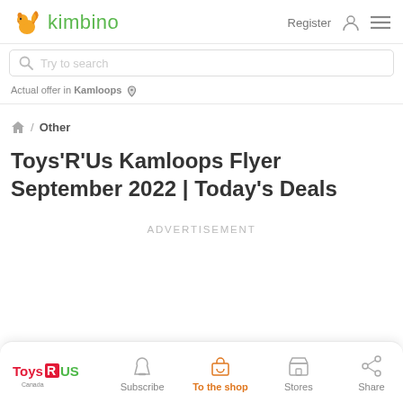kimbino — Register
Try to search
Actual offer in Kamloops
/ Other
Toys'R'Us Kamloops Flyer September 2022 | Today's Deals
ADVERTISEMENT
[Figure (logo): Toys R Us Canada logo with action buttons: Subscribe, To the shop, Stores, Share]